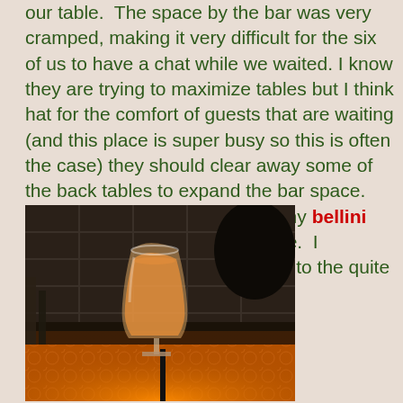our table.  The space by the bar was very cramped, making it very difficult for the six of us to have a chat while we waited. I know they are trying to maximize tables but I think hat for the comfort of guests that are waiting (and this place is super busy so this is often the case) they should clear away some of the back tables to expand the bar space. Space aside, I did really enjoy my bellini made of local white peach purée.  I appreciated this seasonal touch to the quite unique cocktail menu.
[Figure (photo): A bellini cocktail in a tall glass on a bar counter with warm orange/amber backlighting, dark tiled wall background.]